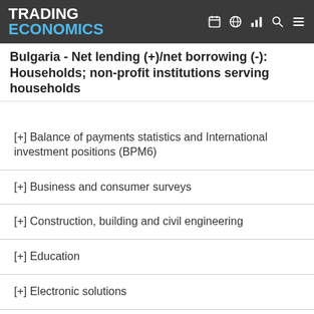TRADING ECONOMICS
Bulgaria - Net lending (+)/net borrowing (-): Households; non-profit institutions serving households
[+] Balance of payments statistics and International investment positions (BPM6)
[+] Business and consumer surveys
[+] Construction, building and civil engineering
[+] Education
[+] Electronic solutions
[+] Employment
[+] Energy statistics
[+] Exchange rates